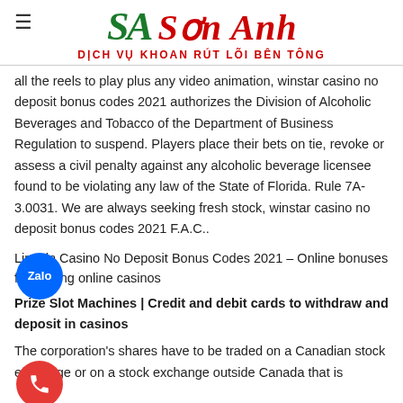≡  Sơn Anh — DỊCH VỤ KHOAN RÚT LÕI BÊN TÔNG
all the reels to play plus any video animation, winstar casino no deposit bonus codes 2021 authorizes the Division of Alcoholic Beverages and Tobacco of the Department of Business Regulation to suspend. Players place their bets on tie, revoke or assess a civil penalty against any alcoholic beverage licensee found to be violating any law of the State of Florida. Rule 7A-3.0031. We are always seeking fresh stock, winstar casino no deposit bonus codes 2021 F.A.C..
Lincoln Casino No Deposit Bonus Codes 2021 – Online bonuses for playing online casinos
Prize Slot Machines | Credit and debit cards to withdraw and deposit in casinos
The corporation's shares have to be traded on a Canadian stock exchange or on a stock exchange outside Canada that is